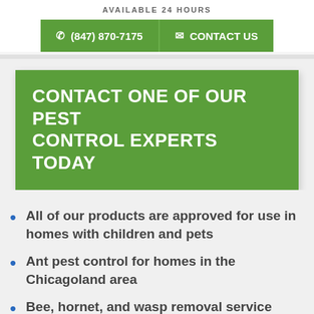AVAILABLE 24 HOURS
(847) 870-7175
CONTACT US
CONTACT ONE OF OUR PEST CONTROL EXPERTS TODAY
All of our products are approved for use in homes with children and pets
Ant pest control for homes in the Chicagoland area
Bee, hornet, and wasp removal service